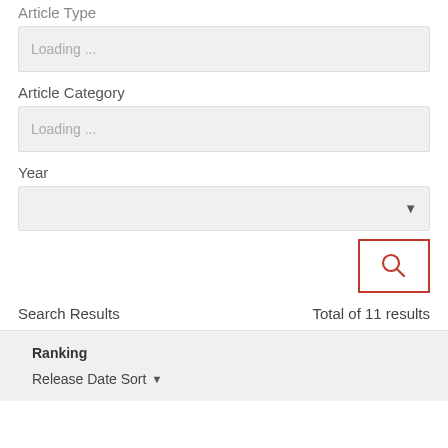Article Type
Loading ...
Article Category
Loading ...
Year
[Figure (screenshot): Dropdown selector for Year with a downward arrow on the right]
[Figure (screenshot): Search button with a pink/red magnifying glass icon inside a red-bordered rectangle]
Search Results
Total of 11 results
Ranking
Release Date Sort ▾